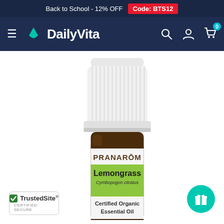Back to School - 12% OFF  Code: BTS12
[Figure (logo): DailyVita navigation bar with hamburger menu, DailyVita logo, search, account, and cart icons]
[Figure (photo): PRANAROM Lemongrass (Cymbopogon citratus) Certified Organic Essential Oil bottle with white ribbed cap and green label]
[Figure (logo): TrustedSite Certified Secure badge]
[Figure (other): Teal circular gift/rewards button]